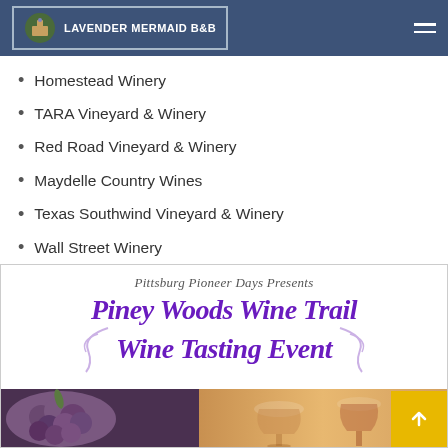LAVENDER MERMAID B&B
Homestead Winery
TARA Vineyard & Winery
Red Road Vineyard & Winery
Maydelle Country Wines
Texas Southwind Vineyard & Winery
Wall Street Winery
[Figure (infographic): Pittsburg Pioneer Days Presents Piney Woods Wine Trail Wine Tasting Event promotional flyer with decorative script text in purple, swirl decorations, and photos of grapes and wine glasses at the bottom.]